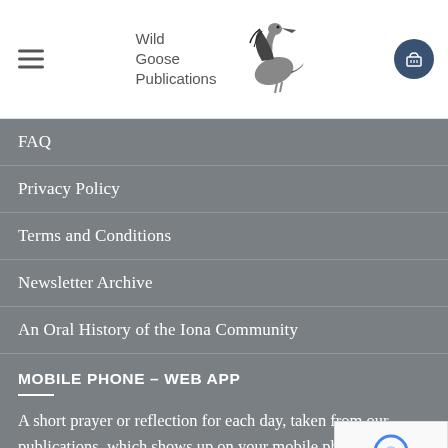Wild Goose Publications — navigation header with logo and hamburger menu
FAQ
Privacy Policy
Terms and Conditions
Newsletter Archive
An Oral History of the Iona Community
MOBILE PHONE – WEB APP
A short prayer or reflection for each day, taken from our publications, which shows up on your mobile phone at the tap of an icon. You can also email the thought to friends.